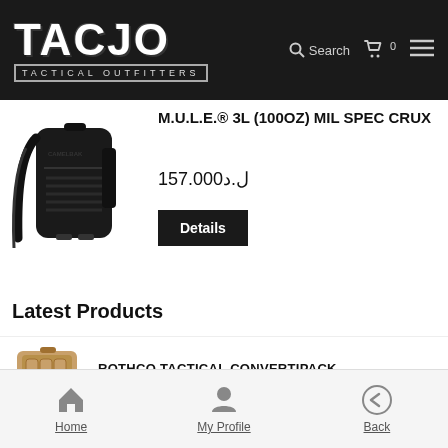[Figure (logo): TACJO Tactical Outfitters logo with distressed white text on dark background, with search icon, cart icon showing 0, and hamburger menu]
[Figure (photo): Black tactical hydration backpack / M.U.L.E. 3L Mil Spec Crux on white background]
M.U.L.E.® 3L (100OZ) MIL SPEC CRUX
ل.د157.000
Details
Latest Products
[Figure (photo): Tan/coyote colored tactical convertipack bag thumbnail]
ROTHCO TACTICAL CONVERTIPACK
Home   My Profile   Back